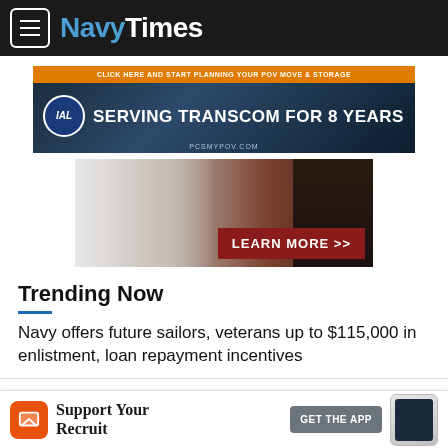NavyTimes
[Figure (photo): IAL advertisement banner: dark blue city skyline background, IAL circular logo, text 'SERVING TRANSCOM FOR 8 YEARS', orange top bar 'CLICK HERE AND START PLANNING YOUR POV MOVE & STORAGE', URL pcsmypov.com]
[Figure (photo): Advertisement with eagle/flag imagery, white feathers on left, red fabric on right, dark water background, dark red 'LEARN MORE >>' button overlay]
Trending Now
Navy offers future sailors, veterans up to $115,000 in enlistment, loan repayment incentives
Divers find WWI Navy destroyer, the first to be sunk by
[Figure (screenshot): App download banner: orange icon, 'Support Your Recruit' text, 'GET THE APP' button, phone mockup image]